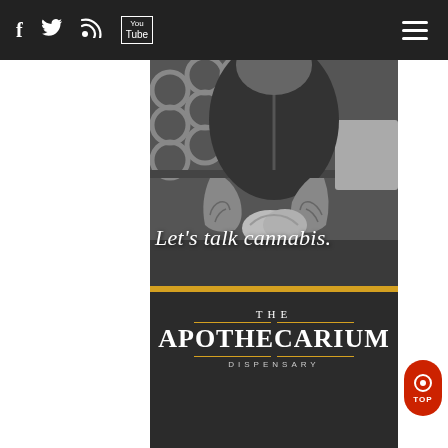[Figure (screenshot): Website screenshot of The Apothecarium Dispensary. Dark navigation bar at top with social media icons (Facebook, Twitter, RSS, YouTube) and hamburger menu. Central black-and-white photo of a tattooed man with clasped hands behind a counter. Yellow horizontal stripe divides photo from dark lower section. White italic serif text reads 'Let’s talk cannabis.' Below is the dispensary logo: 'THE APOTHECARIUM DISPENSARY' in white on dark background with gold rule lines. Red 'TOP' button at bottom right.]